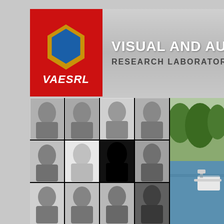[Figure (logo): VAESRL logo — red square background with hexagonal emblem in blue/gold and white stylized text 'VAESRL']
VISUAL AND AUTO... RESEARCH LABORATORY
[Figure (photo): Grid of black-and-white face images showing various people in profile/downward-looking poses under different lighting conditions, plus outdoor photo of drone/boat on water and landscape]